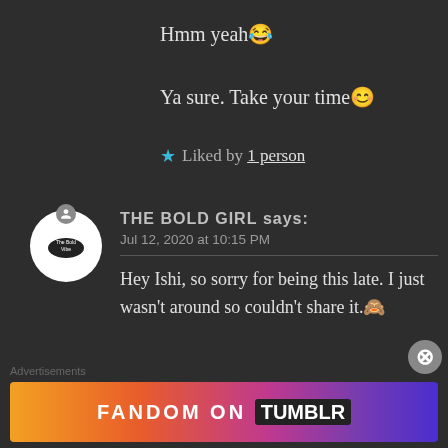Hmm yeah😂
Ya sure. Take your time😊
★ Liked by 1 person
THE BOLD GIRL says: Jul 12, 2020 at 10:15 PM
Hey Ishi, so sorry for being this late. I just wasn't around so couldn't share it.🙈
Advertisements
[Figure (other): Fandom on Tumblr advertisement banner with colorful gradient background]